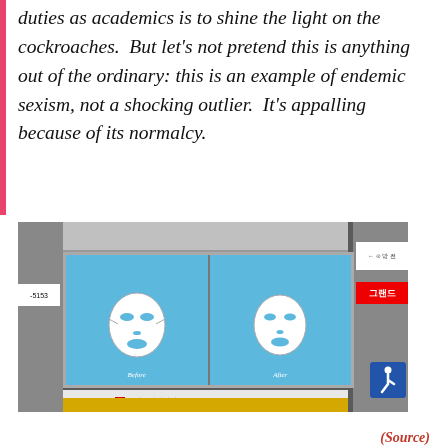duties as academics is to shine the light on the cockroaches.  But let's not pretend this is anything out of the ordinary: this is an example of endemic sexism, not a shocking outlier.  It's appalling because of its normalcy.
[Figure (photo): Photograph of a subway station platform in Korea showing an advertisement billboard with two face mask images labeled 'Before' and 'After', with text '1588-5153' and Korean characters at the bottom. The billboard is set between sliding doors on the platform.]
(Source)